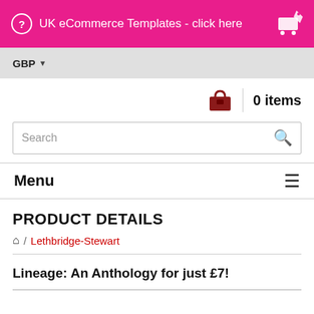UK eCommerce Templates - click here
GBP ▼
0 items
Search
Menu
PRODUCT DETAILS
🏠 / Lethbridge-Stewart
Lineage: An Anthology for just £7!